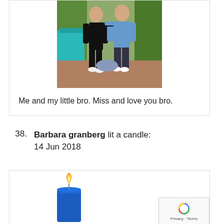[Figure (photo): Two men posing together outdoors, one in a black tank top and one in a light blue t-shirt, with green foliage in the background]
Me and my little bro. Miss and love you bro.
38. Barbara granberg lit a candle: 14 Jun 2018
[Figure (illustration): A blue candle with a flame, lit, standing upright]